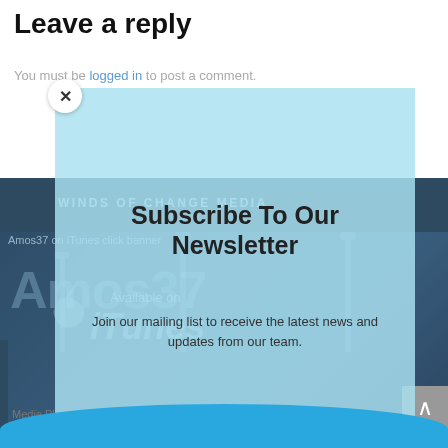Leave a reply
You must be logged in to post a comment.
[Figure (screenshot): Winds of Change Media navigation banner in dark navy blue with white/grey text]
[Figure (screenshot): Amos37 on iTunes click banner — shows Apple logo, 'Available on iTunes' text, watermark background of Amos37]
Subscribe To Our Newsletter
Join our mailing list to receive the latest news and updates from our team.
Media Player